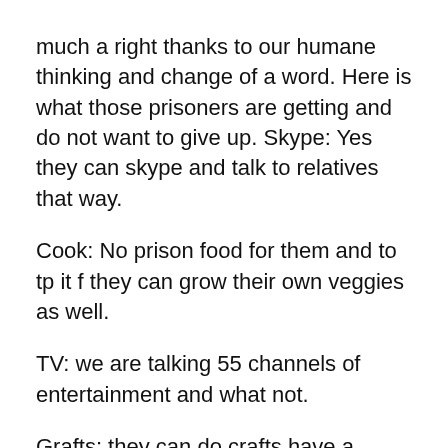much a right thanks to our humane thinking and change of a word. Here is what those prisoners are getting and do not want to give up. Skype: Yes they can skype and talk to relatives that way.
Cook: No prison food for them and to tp it f they can grow their own veggies as well.
TV: we are talking 55 channels of entertainment and what not.
Grafts: they can do crafts have a beautiful view to paint. Beautiful as in an open landscape of green and trees and cows.

Now I might be inhumane to think they do not deserve that. But the argument is that we are human beings and have made a rule we al deserve a decent living.
Since when does a murderer deserve a decent live after robbing one and ruining even more. If one is sentenced for